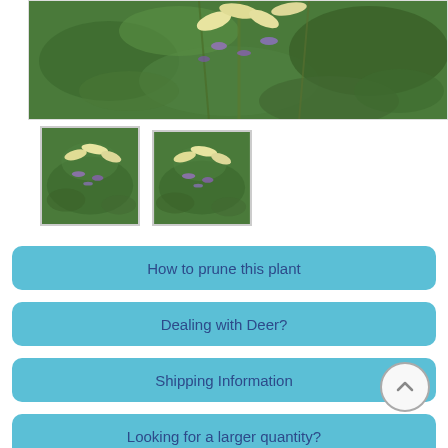[Figure (photo): Large close-up photo of a plant with purple and cream/yellow flowers and green leaves against a green background]
[Figure (photo): Thumbnail 1 (selected, with border): Close-up of plant with cream/yellow curled flowers and small purple flowers]
[Figure (photo): Thumbnail 2: Similar close-up of the same plant with cream/yellow and purple flowers]
How to prune this plant
Dealing with Deer?
Shipping Information
Looking for a larger quantity?